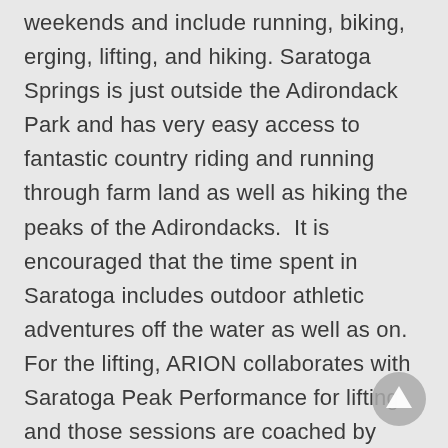weekends and include running, biking, erging, lifting, and hiking. Saratoga Springs is just outside the Adirondack Park and has very easy access to fantastic country riding and running through farm land as well as hiking the peaks of the Adirondacks.  It is encouraged that the time spent in Saratoga includes outdoor athletic adventures off the water as well as on.  For the lifting, ARION collaborates with Saratoga Peak Performance for lifting and those sessions are coached by Bryan Briddell - a highly regarded trainer in the upstate NY area.  Follow 'The Training' link above in the blue bar